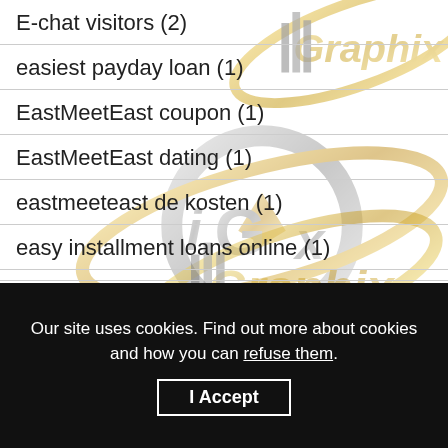E-chat visitors (2)
easiest payday loan (1)
EastMeetEast coupon (1)
EastMeetEast dating (1)
eastmeeteast de kosten (1)
easy installment loans online (1)
Our site uses cookies. Find out more about cookies and how you can refuse them.
I Accept